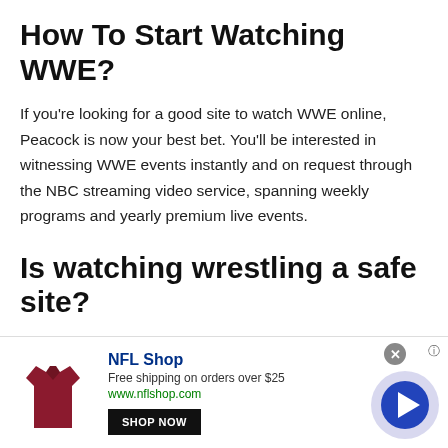How To Start Watching WWE?
If you're looking for a good site to watch WWE online, Peacock is now your best bet. You'll be interested in witnessing WWE events instantly and on request through the NBC streaming video service, spanning weekly programs and yearly premium live events.
Is watching wrestling a safe site?
Watch Wrestling is a trusted and safe site that you should use for streaming WWE content. You will get all the actions and latest
[Figure (other): NFL Shop advertisement banner with red jersey image, 'SHOP NOW' button, text 'Free shipping on orders over $25', URL 'www.nflshop.com', close button, and forward arrow circle button]